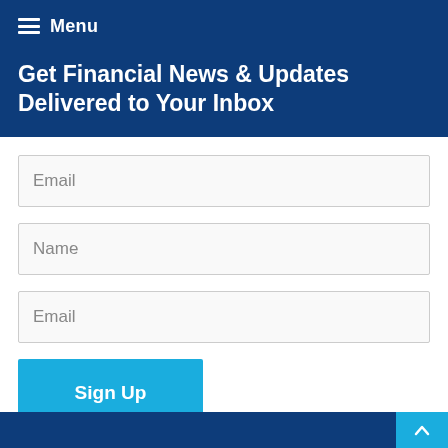Menu
Get Financial News & Updates Delivered to Your Inbox
Name
Email
Sign Up